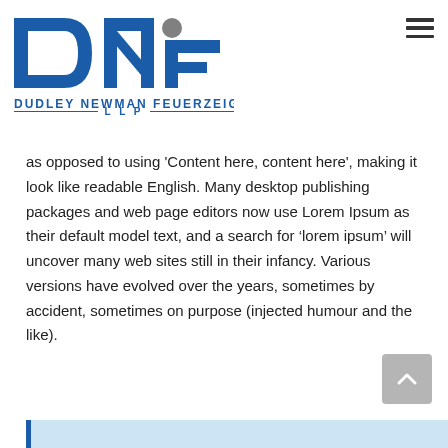[Figure (logo): Dudley Newman Feuerzeig LLP law firm logo with stylized DNF letters in blue and gray, and full firm name below]
as opposed to using 'Content here, content here', making it look like readable English. Many desktop publishing packages and web page editors now use Lorem Ipsum as their default model text, and a search for ‘lorem ipsum’ will uncover many web sites still in their infancy. Various versions have evolved over the years, sometimes by accident, sometimes on purpose (injected humour and the like).